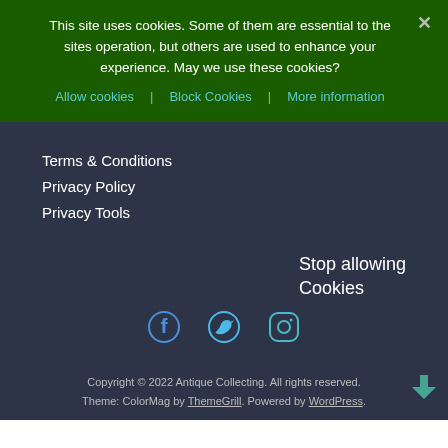This site uses cookies. Some of them are essential to the sites operation, but others are used to enhance your experience. May we use these cookies?
Allow cookies
Block Cookies
More information
Terms & Conditions
Privacy Policy
Privacy Tools
Stop allowing Cookies
[Figure (logo): Facebook, Twitter, and Instagram social media icons in a row]
Copyright © 2022 Antique Collecting. All rights reserved. Theme: ColorMag by ThemeGrill. Powered by WordPress.